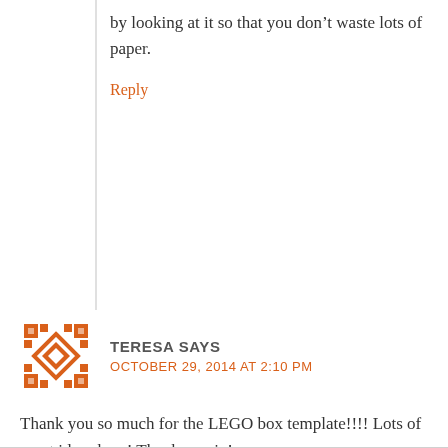by looking at it so that you don't waste lots of paper.
Reply
TERESA SAYS
OCTOBER 29, 2014 AT 2:10 PM
Thank you so much for the LEGO box template!!!! Lots of great ideas here! Thanks again!
Reply